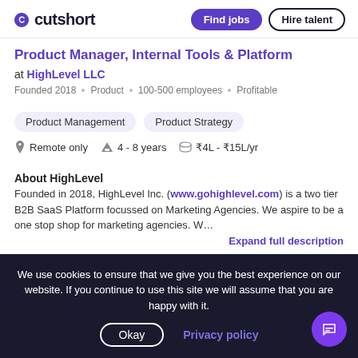cutshort | Find jobs | Hire talent
Product Manager, Internal Tools & Platform
at HighLevel LLC
Founded 2018 · Product · 100-500 employees · Profitable
Product Management
Product Strategy
Remote only   4 - 8 years   ₹4L - ₹15L/yr
About HighLevel
Founded in 2018, HighLevel Inc. (www.gohighlevel.com) is a two tier B2B SaaS Platform focussed on Marketing Agencies. We aspire to be a one stop shop for marketing agencies. W…
Expand full description
Job posted by
We use cookies to ensure that we give you the best experience on our website. If you continue to use this site we will assume that you are happy with it.
Okay | Privacy policy